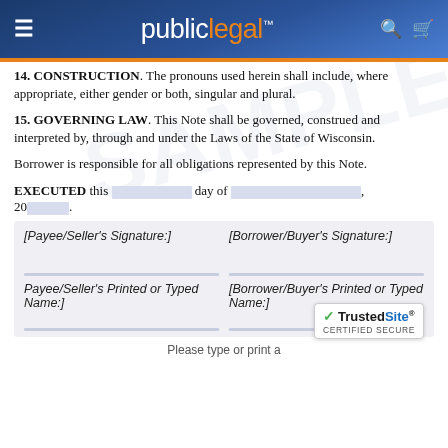publiclegal
14. CONSTRUCTION.  The pronouns used herein shall include, where appropriate, either gender or both, singular and plural.
15. GOVERNING LAW.  This Note shall be governed, construed and interpreted by, through and under the Laws of the State of Wisconsin.
Borrower is responsible for all obligations represented by this Note.
EXECUTED this ___ day of ___, 20___.
| [Payee/Seller's Signature:] | [Borrower/Buyer's Signature:] |
| Payee/Seller's Printed or Typed Name:] | [Borrower/Buyer's Printed or Typed Name:] |
Please type or print a